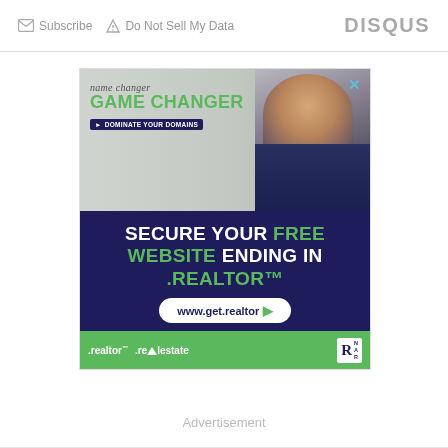Subscribe  Do Not Sell My Data  DISQUS
[Figure (infographic): Advertisement banner for get.realtor domain service. Shows 'name changer GAME CHANGER - DOMINATE YOUR DOMAINS' with a photo of a man, dark blue section reading 'SECURE YOUR FREE WEBSITE ENDING IN .REALTOR™', URL www.get.realtor, and bottom bar with .realtor .realestate NAR logos.]
Advertisement